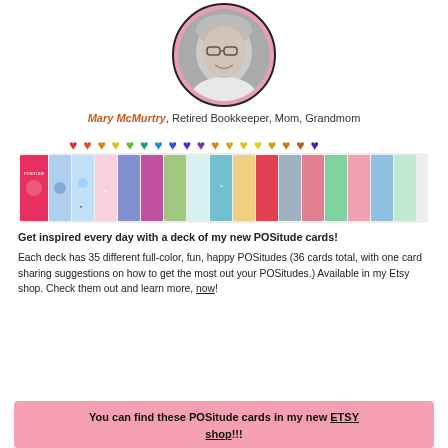[Figure (photo): Circular profile photo of Mary McMurtry, a woman with glasses, smiling, in grayscale, with a pink circular border]
Mary McMurtry, Retired Bookkeeper, Mom, Grandmom
[Figure (illustration): A row of colorful heart emojis in various colors: red, orange, yellow, green, blue, purple]
[Figure (photo): A horizontal strip showing a deck of colorful POSitude cards fanned out]
Get inspired every day with a deck of my new POSitude cards! Each deck has 35 different full-color, fun, happy POSitudes (36 cards total, with one card sharing suggestions on how to get the most out your POSitudes.) Available in my Etsy shop. Check them out and learn more, now!
You can find these POSitude cards in my new ETSY shop!!!